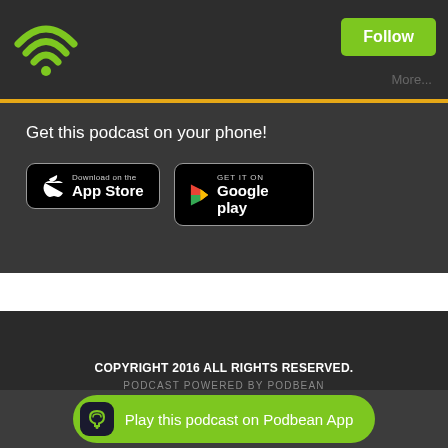[Figure (logo): Podbean green WiFi/podcast icon logo in top left of dark header]
[Figure (other): Green Follow button in top right of dark header]
More...
Get this podcast on your phone!
[Figure (other): Download on the App Store button]
[Figure (other): Get it on Google Play button]
COPYRIGHT 2016 ALL RIGHTS RESERVED. PODCAST POWERED BY PODBEAN
[Figure (other): Play this podcast on Podbean App green pill button at bottom]